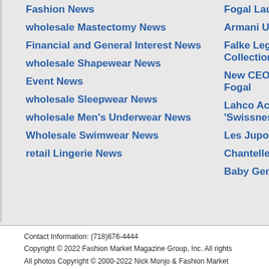Fashion News
wholesale Mastectomy News
Financial and General Interest News
wholesale Shapewear News
Event News
wholesale Sleepwear News
wholesale Men's Underwear News
Wholesale Swimwear News
retail Lingerie News
Fogal Launche
Armani Unveil
Falke Legwear Collection
New CEO & Ne Fogal
Lahco Acquire 'Swissness'
Les Jupons De
Chantelle Styl
Baby Genius In
Contact Information: (718)676-4444
Copyright © 2022 Fashion Market Magazine Group, Inc. All rights
All photos Copyright © 2000-2022 Nick Monjo & Fashion Market